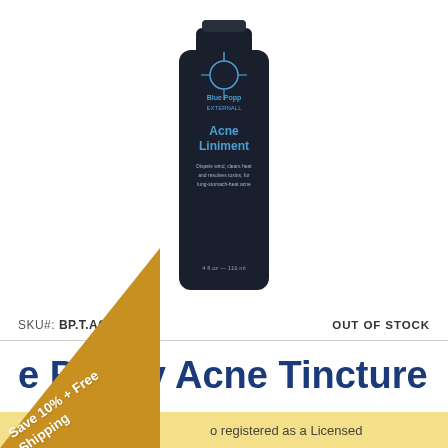[Figure (photo): Dark blue/black cylindrical bottle of Blue Poppy Externally Acne Liniment, 4 fl oz / 116 ml, with blue text on label]
SKU#:  BP.T.ACNE
OUT OF STOCK
e Poppy Acne Tincture
Save 10% + Free Shipping
o registered as a Licensed